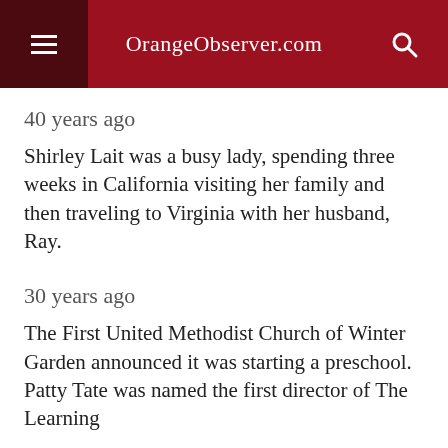OrangeObserver.com
40 years ago
Shirley Lait was a busy lady, spending three weeks in California visiting her family and then traveling to Virginia with her husband, Ray.
30 years ago
The First United Methodist Church of Winter Garden announced it was starting a preschool. Patty Tate was named the first director of The Learning